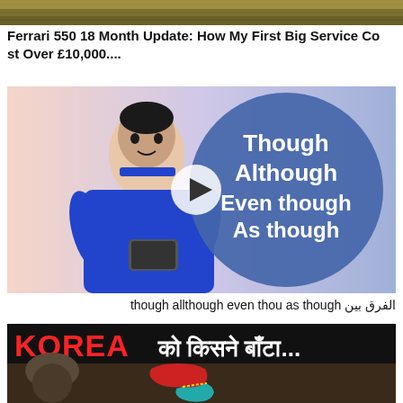[Figure (photo): Top strip of an outdoor grassy/gravelly scene, cropped]
Ferrari 550 18 Month Update: How My First Big Service Cost Over £10,000....
[Figure (photo): Video thumbnail showing a man in blue sweater holding a phone, with a blue circle containing text: Though, Although, Even though, As though. A play button is visible in the center.]
الفرق بين though allthough even thou as though
[Figure (photo): Video thumbnail with text KOREA को किसने बाँटा... and a map showing Korean peninsula in red and teal]